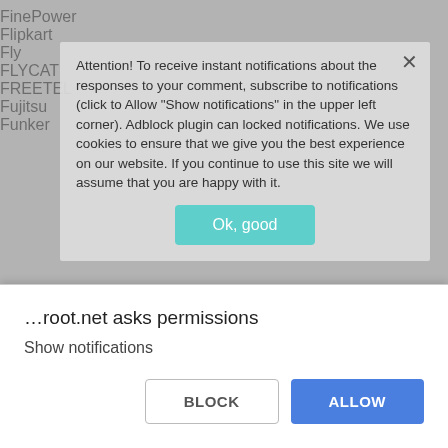FinePower
Flipkart
Fly
FLYCAT
FREETEL
Fujitsu
Funker
[Figure (screenshot): Cookie/notification consent popup overlay with text: 'Attention! To receive instant notifications about the responses to your comment, subscribe to notifications (click to Allow "Show notifications" in the upper left corner). Adblock plugin can locked notifications. We use cookies to ensure that we give you the best experience on our website. If you continue to use this site we will assume that you are happy with it.' with an 'Ok, good' button and a close X button.]
G7
Geeksphone
General Mobile
Geotel
[Figure (screenshot): Browser permission dialog at bottom of screen: '...root.net asks permissions' with 'Show notifications' text and BLOCK / ALLOW buttons.]